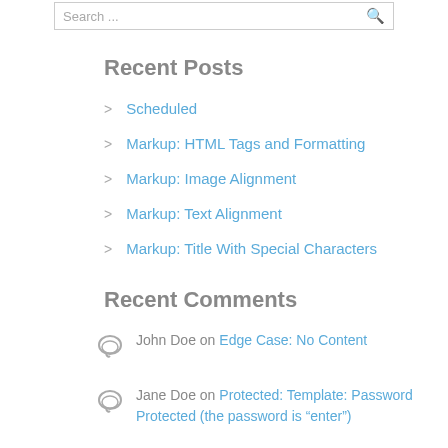Search ...
Recent Posts
Scheduled
Markup: HTML Tags and Formatting
Markup: Image Alignment
Markup: Text Alignment
Markup: Title With Special Characters
Recent Comments
John Doe on Edge Case: No Content
Jane Doe on Protected: Template: Password Protected (the password is "enter")